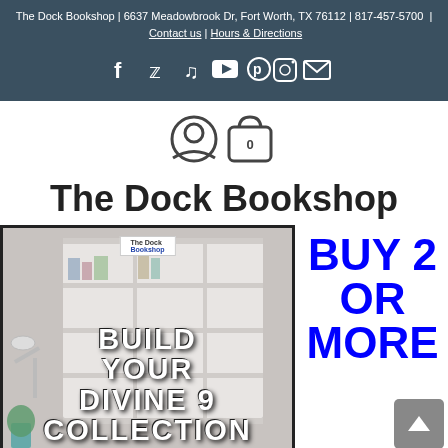The Dock Bookshop | 6637 Meadowbrook Dr, Fort Worth, TX 76112 | 817-457-5700 | Contact us | Hours & Directions
[Figure (infographic): Social media icons row: Facebook, Twitter, TikTok, YouTube, Pinterest, Instagram, Email on dark teal background]
[Figure (infographic): User account icon and shopping bag icon with 0 badge]
The Dock Bookshop
[Figure (photo): Promotional image of book shelves with text BUILD YOUR DIVINE 9 COLLECTION overlaid. The Dock Bookshop logo visible at top. Next to image: BUY 2 OR MORE in large blue text. Bottom right has a back-to-top arrow button.]